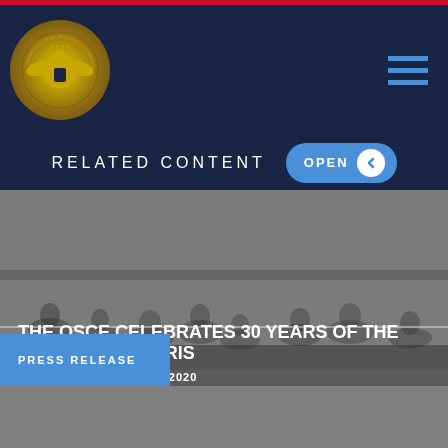COMMISSION ON SECURITY AND COOPERATION IN EUROPE - Navigation Header
RELATED CONTENT OPEN
[Figure (photo): Grayscale background photo of a meeting room or conference with people seated]
THE OSCE CELEBRATES 30 YEARS OF THE CHARTER OF PARIS
FRIDAY, NOVEMBER 20, 2020
PRESS RELEASE